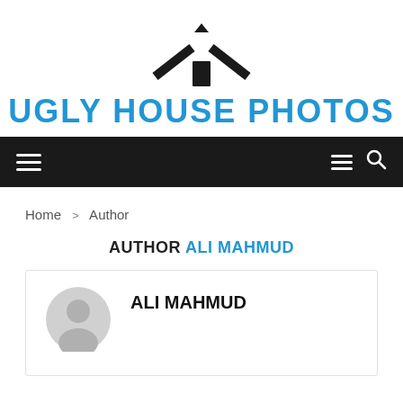[Figure (logo): House/roof icon logo for Ugly House Photos website]
UGLY HOUSE PHOTOS
[Figure (screenshot): Black navigation bar with hamburger menu on left and menu icon plus search icon on right]
Home > Author
AUTHOR ALI MAHMUD
[Figure (illustration): Gray default user avatar silhouette circle icon]
ALI MAHMUD